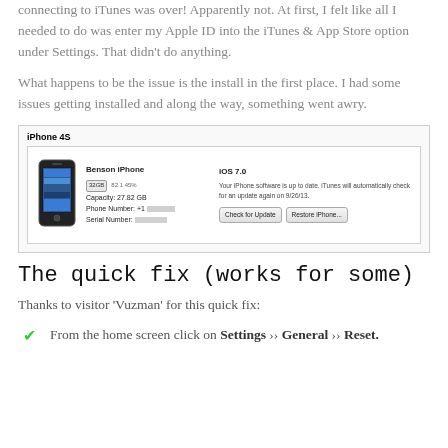connecting to iTunes was over! Apparently not. At first, I felt like all I needed to do was enter my Apple ID into the iTunes & App Store option under Settings. That didn't do anything.
What happens to be the issue is the install in the first place. I had some issues getting installed and along the way, something went awry.
[Figure (screenshot): iPhone 4S screenshot in iTunes showing Benson iPhone with iOS 7.0, 32GB storage at 45%, capacity 27.82 GB, with Check for Update and Restore iPhone buttons.]
The quick fix (works for some)
Thanks to visitor ‘Vuzman’ for this quick fix:
From the home screen click on Settings » General » Reset.